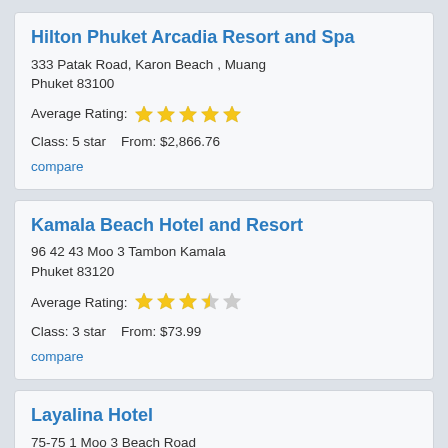Hilton Phuket Arcadia Resort and Spa
333 Patak Road, Karon Beach , Muang Phuket 83100
Average Rating: ★★★★★
Class: 5 star   From: $2,866.76
compare
Kamala Beach Hotel and Resort
96 42 43 Moo 3 Tambon Kamala Phuket 83120
Average Rating: ★★★☆☆
Class: 3 star   From: $73.99
compare
Layalina Hotel
75-75 1 Moo 3 Beach Road Phuket 83150